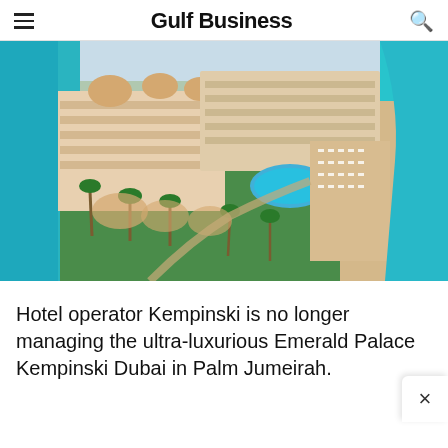Gulf Business
[Figure (photo): Aerial view of Emerald Palace Kempinski Dubai resort on Palm Jumeirah, showing the palatial hotel complex with sandy beach, turquoise water, swimming pool, palm trees and beach chairs]
Hotel operator Kempinski is no longer managing the ultra-luxurious Emerald Palace Kempinski Dubai in Palm Jumeirah.